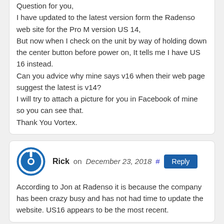Question for you, I have updated to the latest version form the Radenso web site for the Pro M version US 14, But now when I check on the unit by way of holding down the center button before power on, It tells me I have US 16 instead. Can you advice why mine says v16 when their web page suggest the latest is v14? I will try to attach a picture for you in Facebook of mine so you can see that. Thank You Vortex.
Rick on December 23, 2018
According to Jon at Radenso it is because the company has been crazy busy and has not had time to update the website. US16 appears to be the most recent.
Darrell Wilson on January 23, 2019